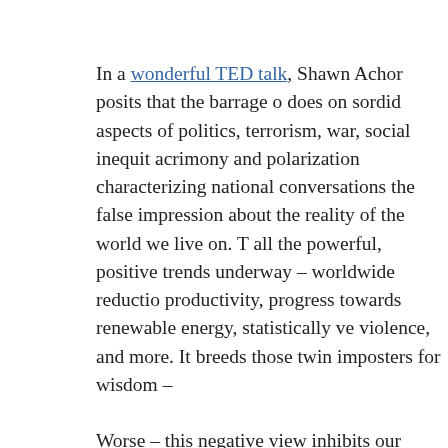In a wonderful TED talk, Shawn Achor posits that the barrage of news does on sordid aspects of politics, terrorism, war, social inequity, acrimony and polarization characterizing national conversations gives the false impression about the reality of the world we live on. The media ignores all the powerful, positive trends underway – worldwide reductions in poverty, productivity, progress towards renewable energy, statistically verified reductions in violence, and more. It breeds those twin imposters for wisdom –
Worse – this negative view inhibits our common progress toward a better world. Achor argues that the end of each day we should reflect back for a positive journal – identifying three aspects for which we were grateful, and journaling them. He asserts that such a daily practice will develop in us an attitude of expecting – the positive. His studies suggest that this simple attitude makes us more successful in work and the rest of life.
For the past eighteen years – predating Mr. Achor's talk and work, I have had the privilege to see this in action – not intentionally, but as a happy consequence of something else entirely. When I arrived at the American Meteor